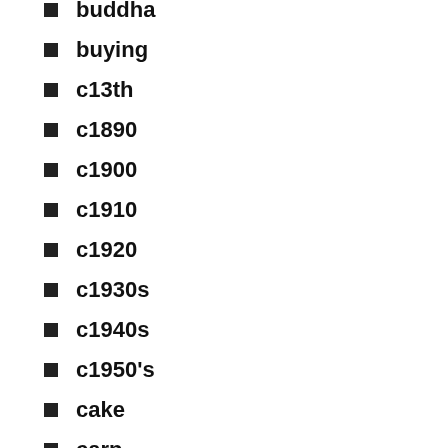buddha
buying
c13th
c1890
c1900
c1910
c1920
c1930s
c1940s
c1950's
cake
carp
carved
catching
ccvp25
century
certified
chad